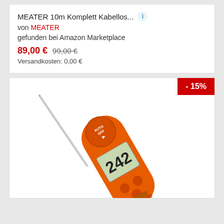MEATER 10m Komplett Kabellos...
von MEATER
gefunden bei Amazon Marketplace
89,00 € 99,00 €
Versandkosten: 0,00 €
[Figure (photo): Orange digital meat thermometer with folding probe, LCD display showing temperature, AUTO OFF button on top, round buttons on body. Red discount badge showing -15% in top right corner.]